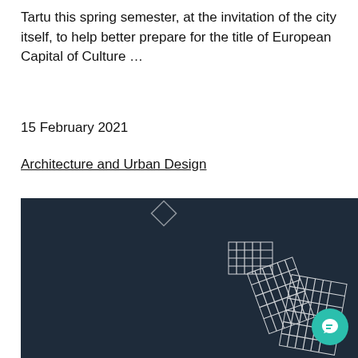Tartu this spring semester, at the invitation of the city itself, to help better prepare for the title of European Capital of Culture …
15 February 2021
Architecture and Urban Design
[Figure (photo): Dark background photo showing white geometric/grid pattern shapes on a dark surface, with a cookie consent dialog overlay and chat button]
The website of the Estonian Academy of Arts uses cookies to collect statistics about our users and offer visitors the best experience. Do you agree to the use of cookies? Read More.
Accept  Reject